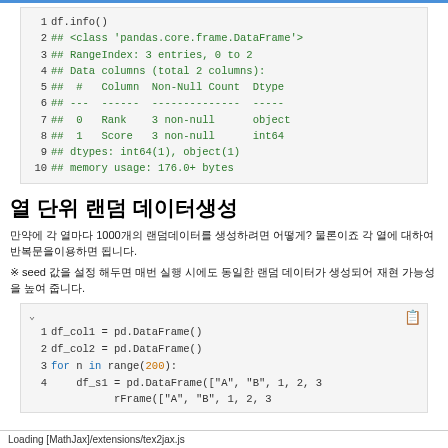[Figure (screenshot): Code block showing df.info() output with pandas DataFrame info including RangeIndex 3 entries, 0 to 2, Data columns total 2 columns, columns Rank and Score with non-null counts and dtypes, memory usage 176.0+ bytes]
열 단위 랜덤 데이터생성
만약에 각 열마다 1000개의 랜덤데이터를 생성하려면 어떻게? 물론이죠 각 열에 대하여 반복문을이용하면 됩니다.
※ seed 값을 설정 해두면 매번 실행 시에도 동일한 랜덤 데이터가 생성되어 재현 가능성을 높여 줍니다.
[Figure (screenshot): Code block with lines: 1 df_col1 = pd.DataFrame(), 2 df_col2 = pd.DataFrame(), 3 for n in range(200):, 4 df_s1 = pd.DataFrame(["A", "B", 1, 2, 3, 5 (cutoff)]
Loading [MathJax]/extensions/tex2jax.js